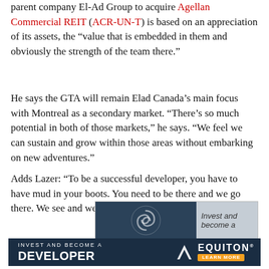parent company El-Ad Group to acquire Agellan Commercial REIT (ACR-UN-T) is based on an appreciation of its assets, the “value that is embedded in them and obviously the strength of the team there.”
He says the GTA will remain Elad Canada’s main focus with Montreal as a secondary market. “There’s so much potential in both of those markets,” he says. “We feel we can sustain and grow within those areas without embarking on new adventures.”
Adds Lazer: “To be a successful developer, you have to have mud in your boots. You need to be there and we go there. We see and we feel.”
[Figure (advertisement): Partial Equiton advertisement showing dark blue left panel with swirl logo and grey right panel with partial text 'Invest and become a']
[Figure (advertisement): Equiton advertisement banner: 'INVEST AND BECOME A DEVELOPER' on dark navy background with Equiton logo and 'LEARN MORE' orange button]